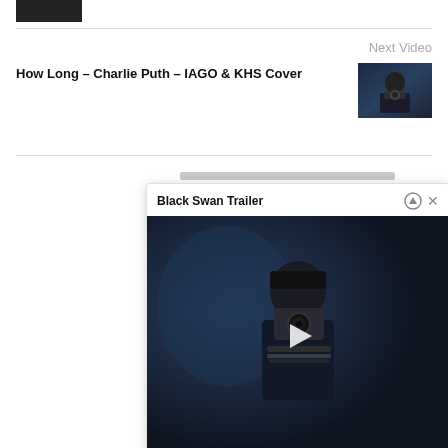[Figure (photo): Small dark thumbnail image in top left corner]
Next Video
How Long – Charlie Puth – IAGO & KHS Cover
[Figure (photo): Thumbnail of person holding camera against dark background]
[Figure (screenshot): Popup dialog titled 'Black Swan Trailer' with a video thumbnail showing a person holding a camera in dark surroundings, with play button overlay. Header has up-arrow and close (x) icons.]